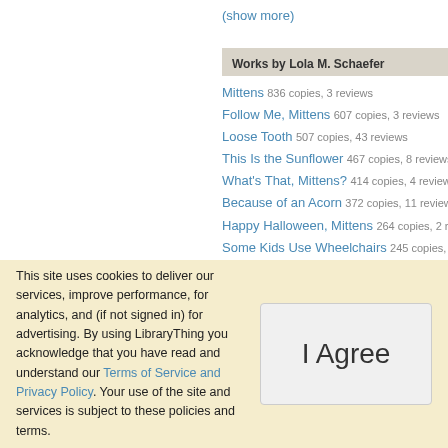(show more)
Works by Lola M. Schaefer
Mittens 836 copies, 3 reviews
Follow Me, Mittens 607 copies, 3 reviews
Loose Tooth 507 copies, 43 reviews
This Is the Sunflower 467 copies, 8 reviews
What's That, Mittens? 414 copies, 4 reviews
Because of an Acorn 372 copies, 11 reviews
Happy Halloween, Mittens 264 copies, 2 reviews
Some Kids Use Wheelchairs 245 copies, 14 reviews
Mittens at School 231 copies, 1 review
Lifetime: The Amazing Numbers in Animal Lives
This site uses cookies to deliver our services, improve performance, for analytics, and (if not signed in) for advertising. By using LibraryThing you acknowledge that you have read and understand our Terms of Service and Privacy Policy. Your use of the site and services is subject to these policies and terms.
I Agree